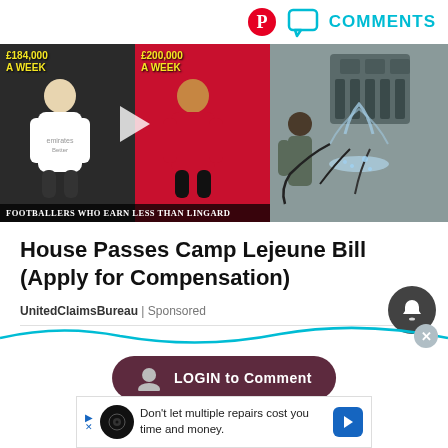[Figure (screenshot): Top bar with Pinterest icon, comments bubble icon, and COMMENTS label in teal]
[Figure (photo): Image strip showing footballers with salary overlays (£184,000 A WEEK and £200,000 A WEEK) and a military water scene on the right. Caption reads FOOTBALLERS WHO EARN LESS THAN LINGARD]
House Passes Camp Lejeune Bill (Apply for Compensation)
UnitedClaimsBureau | Sponsored
[Figure (screenshot): Notification bell button (dark circular button)]
[Figure (screenshot): Wave decoration bar and LOGIN to Comment button with user silhouette icon, and close X button]
[Figure (screenshot): Ad bar at bottom: Don't let multiple repairs cost you time and money.]